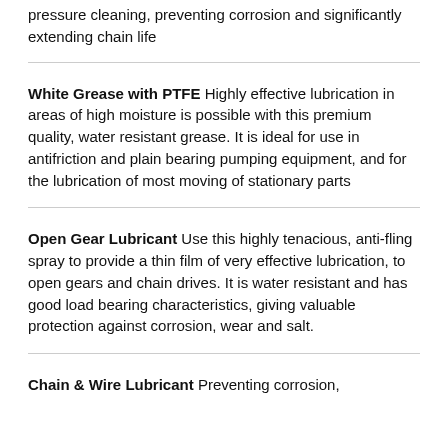pressure cleaning, preventing corrosion and significantly extending chain life
White Grease with PTFE Highly effective lubrication in areas of high moisture is possible with this premium quality, water resistant grease. It is ideal for use in antifriction and plain bearing pumping equipment, and for the lubrication of most moving of stationary parts
Open Gear Lubricant Use this highly tenacious, anti-fling spray to provide a thin film of very effective lubrication, to open gears and chain drives. It is water resistant and has good load bearing characteristics, giving valuable protection against corrosion, wear and salt.
Chain & Wire Lubricant Preventing corrosion,